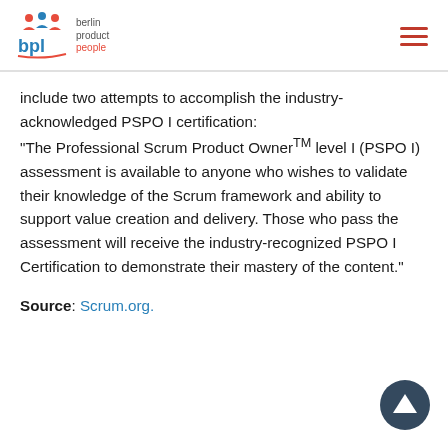berlin product people
include two attempts to accomplish the industry-acknowledged PSPO I certification: “The Professional Scrum Product OwnerTM level I (PSPO I) assessment is available to anyone who wishes to validate their knowledge of the Scrum framework and ability to support value creation and delivery. Those who pass the assessment will receive the industry-recognized PSPO I Certification to demonstrate their mastery of the content.”
Source: Scrum.org.